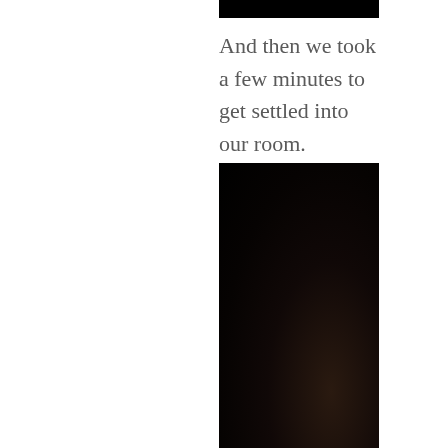[Figure (photo): A black rectangular image block at the top, appearing to be a very dark/black photograph]
And then we took a few minutes to get settled into our room.
[Figure (photo): A tall dark/black photograph, mostly very dark tones with a hint of brownish shapes visible in the lower portion]